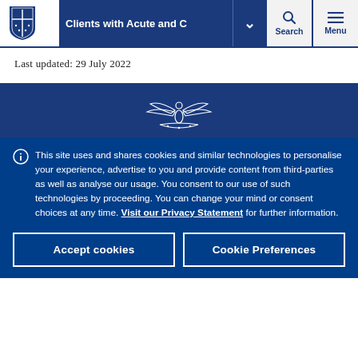Clients with Acute and C [dropdown] Search Menu
Last updated: 29 July 2022
[Figure (logo): University of Melbourne crest/logo in white on dark blue background]
This site uses and shares cookies and similar technologies to personalise your experience, advertise to you and provide content from third-parties as well as analyse our usage. You consent to our use of such technologies by proceeding. You can change your mind or consent choices at any time. Visit our Privacy Statement for further information.
Accept cookies
Cookie Preferences